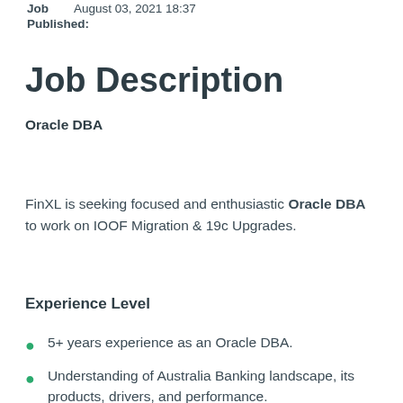Job   August 03, 2021 18:37
Published:
Job Description
Oracle DBA
FinXL is seeking focused and enthusiastic Oracle DBA to work on IOOF Migration & 19c Upgrades.
Experience Level
5+ years experience as an Oracle DBA.
Understanding of Australia Banking landscape, its products, drivers, and performance.